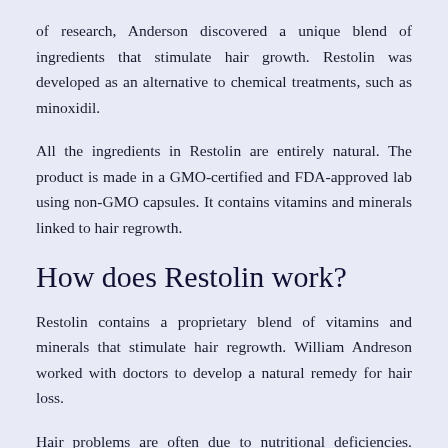of research, Anderson discovered a unique blend of ingredients that stimulate hair growth. Restolin was developed as an alternative to chemical treatments, such as minoxidil.
All the ingredients in Restolin are entirely natural. The product is made in a GMO-certified and FDA-approved lab using non-GMO capsules. It contains vitamins and minerals linked to hair regrowth.
How does Restolin work?
Restolin contains a proprietary blend of vitamins and minerals that stimulate hair regrowth. William Andreson worked with doctors to develop a natural remedy for hair loss.
Hair problems are often due to nutritional deficiencies. Insufficient nutrition can cause hair follicles to go dormant. Restolin is a natural remedy that activates dormant hair follicles to keep them active. This proprietary blend includes all of the vitamins and minerals necessary